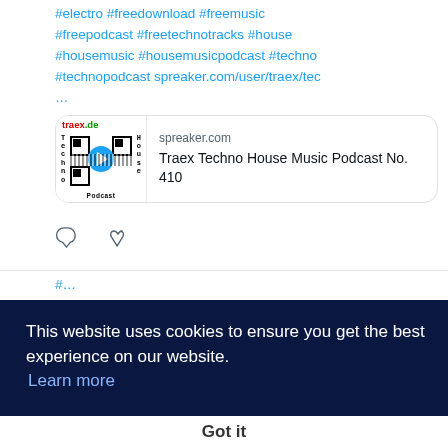#electro #freedownload #freemusic #freepodcast #freetechnotracks #house #housemusic #housemusicpodcast #techno #technopodcast spreaker.com/user/traex/tec …
[Figure (screenshot): Link card showing traex.de podcast image with QR code and play button on left, and 'spreaker.com / Traex Techno House Music Podcast No. 410' text on right]
spreaker.com
Traex Techno House Music Podcast No. 410
This website uses cookies to ensure you get the best experience on our website. Learn more
Got it